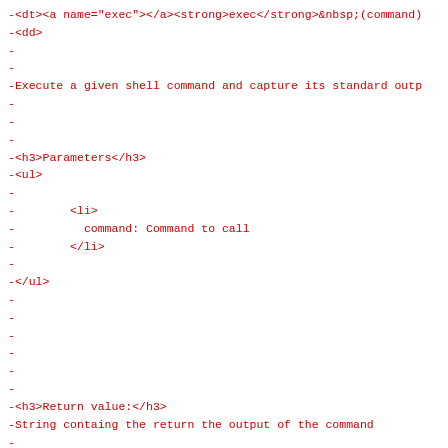-<dt><a name="exec"></a><strong>exec</strong>&nbsp;(command)
-<dd>
-
-
-Execute a given shell command and capture its standard outp
-
-
-
-<h3>Parameters</h3>
-<ul>
-
-        <li>
-          command: Command to call
-        </li>
-
-</ul>
-
-
-
-
-
-
-<h3>Return value:</h3>
-String containg the return the output of the command
-
-
-
-</dd>
-
-
-
-